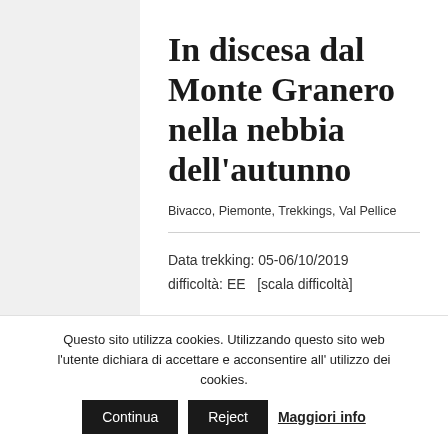In discesa dal Monte Granero nella nebbia dell’autunno
Bivacco, Piemonte, Trekkings, Val Pellice
Data trekking: 05-06/10/2019
difficoltà: EE   [scala difficoltà]
Questo sito utilizza cookies. Utilizzando questo sito web l’utente dichiara di accettare e acconsentire all’ utilizzo dei cookies.